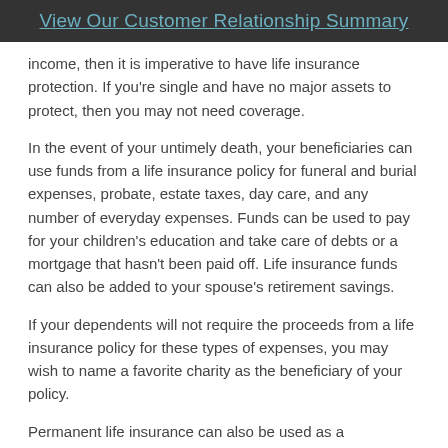View Our Customer Relationship Summary
income, then it is imperative to have life insurance protection. If you're single and have no major assets to protect, then you may not need coverage.
In the event of your untimely death, your beneficiaries can use funds from a life insurance policy for funeral and burial expenses, probate, estate taxes, day care, and any number of everyday expenses. Funds can be used to pay for your children's education and take care of debts or a mortgage that hasn't been paid off. Life insurance funds can also be added to your spouse's retirement savings.
If your dependents will not require the proceeds from a life insurance policy for these types of expenses, you may wish to name a favorite charity as the beneficiary of your policy.
Permanent life insurance can also be used as a